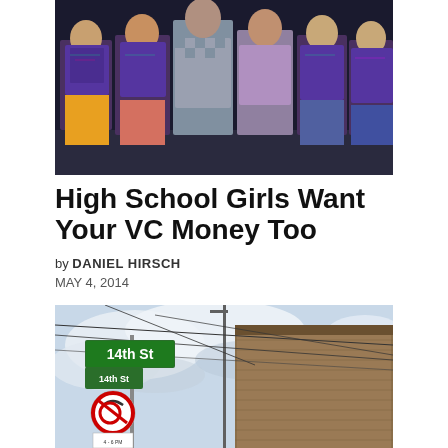[Figure (photo): Group of high school girls wearing purple graphic t-shirts, standing together, photo cropped at waist level]
High School Girls Want Your VC Money Too
by DANIEL HIRSCH
MAY 4, 2014
[Figure (photo): Street corner showing a green street sign reading '14th St', with a no-turn traffic sign below, overhead wires, and a brick building in the background against a cloudy sky]